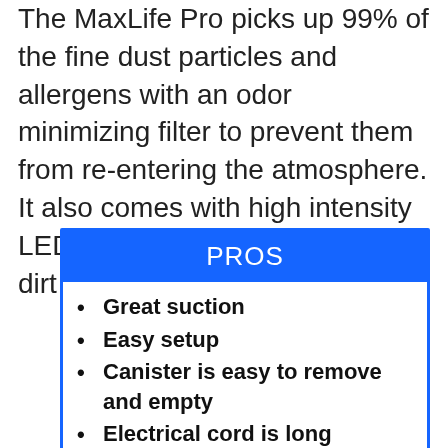The MaxLife Pro picks up 99% of the fine dust particles and allergens with an odor minimizing filter to prevent them from re-entering the atmosphere. It also comes with high intensity LED lights so that you can locate dirt and pet hair easily.
PROS
Great suction
Easy setup
Canister is easy to remove and empty
Electrical cord is long
Very quiet operation